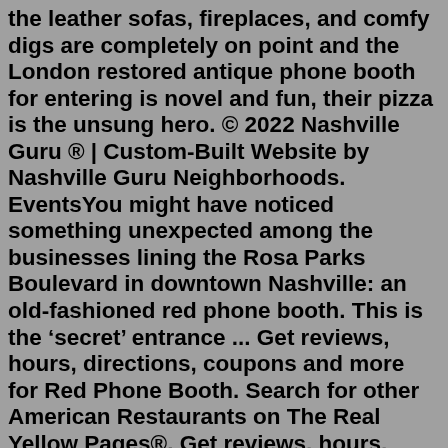the leather sofas, fireplaces, and comfy digs are completely on point and the London restored antique phone booth for entering is novel and fun, their pizza is the unsung hero. © 2022 Nashville Guru ® | Custom-Built Website by Nashville Guru Neighborhoods. EventsYou might have noticed something unexpected among the businesses lining the Rosa Parks Boulevard in downtown Nashville: an old-fashioned red phone booth. This is the &lsquo;secret&rsquo; entrance ... Get reviews, hours, directions, coupons and more for Red Phone Booth. Search for other American Restaurants on The Real Yellow Pages®. Get reviews, hours, directions, coupons and more for Red Phone Booth at 136 Rosa L Parks Blvd, Nashville, TN 37203. Red Phone Booth - Nashville. 136 Rosa L Parks Blvd, Nashville, Tennessee 37203 USA. 99 Reviews View Photos $$ $$$$ Reasonable. Closed Now. Opens Wed 4p ... The Red Phone Booth's Nashville experience begins with the need for a special telephone number that's only available by calling the secret website or from...